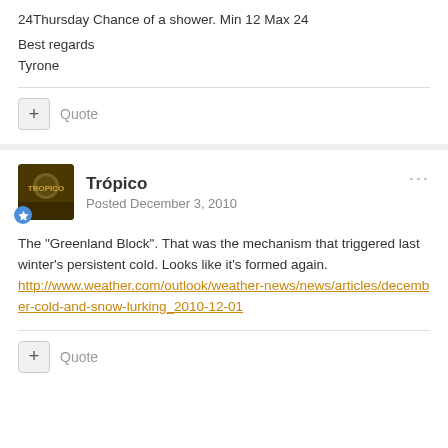24Thursday Chance of a shower. Min 12 Max 24
Best regards
Tyrone
+ Quote
Trópico
Posted December 3, 2010
The "Greenland Block". That was the mechanism that triggered last winter's persistent cold. Looks like it's formed again.
http://www.weather.com/outlook/weather-news/news/articles/december-cold-and-snow-lurking_2010-12-01
+ Quote